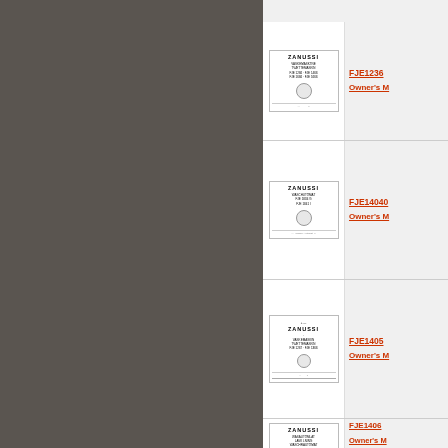[Figure (screenshot): Zanussi FJE1236 Owner's Manual thumbnail showing cover page with ZANUSSI brand, model numbers FJE 1266, FJE 1466, FJE 1666, FJE 1666, and a washing machine illustration]
FJE1236 Owner's M...
[Figure (screenshot): Zanussi FJE14040 Owner's Manual thumbnail showing cover page with ZANUSSI brand, WASCHUTOMAT FJE 1804 G, FJE 1841 I, and a washing machine illustration]
FJE14040 Owner's M...
[Figure (screenshot): Zanussi FJE1405 Owner's Manual thumbnail showing cover page with ZANUSSI brand and washing machine illustration]
FJE1405 Owner's M...
[Figure (screenshot): Zanussi FJE1406 Owner's Manual thumbnail showing cover page with ZANUSSI brand, WASAUTOMLAT, and washing machine models]
FJE1406 Owner's M...